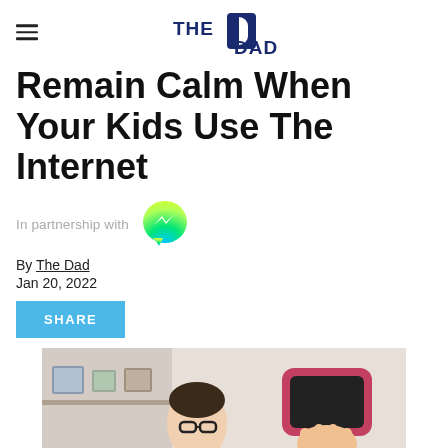THE DAD
Remain Calm When Your Kids Use The Internet
In partnership with [Messenger logo]
By The Dad
Jan 20, 2022
SHARE
[Figure (photo): A man wearing glasses looking at a phone being held up by a child, indoors with framed pictures on a shelf in the background.]